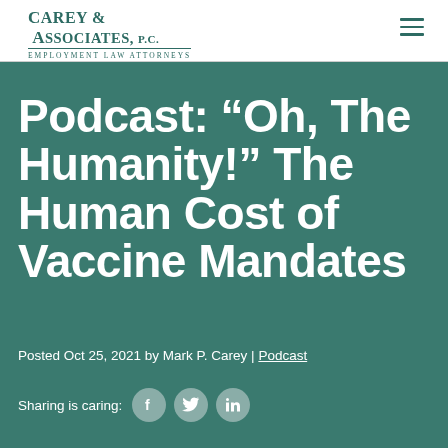Carey & Associates, P.C. Employment Law Attorneys
Podcast: “Oh, The Humanity!” The Human Cost of Vaccine Mandates
Posted Oct 25, 2021 by Mark P. Carey | Podcast
Sharing is caring: